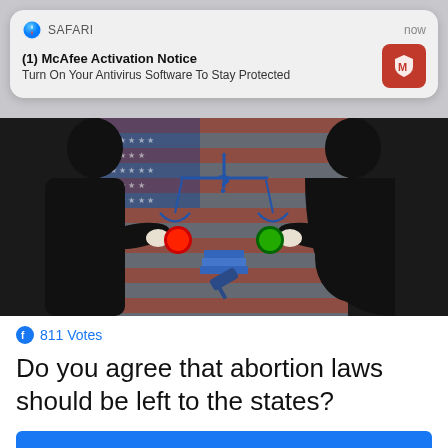[Figure (screenshot): Safari browser notification banner showing McAfee Activation Notice]
(1) McAfee Activation Notice
Turn On Your Antivirus Software To Stay Protected
[Figure (illustration): Illustration of two silhouettes pressing red and green buttons with scales of justice, US flag, gavel and question mark in background]
811 Votes
Do you agree that abortion laws should be left to the states?
Yes